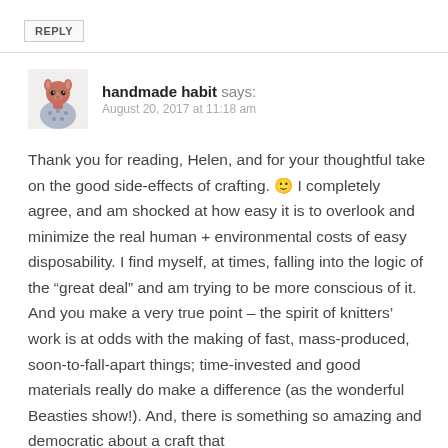REPLY
handmade habit says:
August 20, 2017 at 11:18 am
Thank you for reading, Helen, and for your thoughtful take on the good side-effects of crafting. 🙂 I completely agree, and am shocked at how easy it is to overlook and minimize the real human + environmental costs of easy disposability. I find myself, at times, falling into the logic of the “great deal” and am trying to be more conscious of it. And you make a very true point – the spirit of knitters’ work is at odds with the making of fast, mass-produced, soon-to-fall-apart things; time-invested and good materials really do make a difference (as the wonderful Beasties show!). And, there is something so amazing and democratic about a craft that